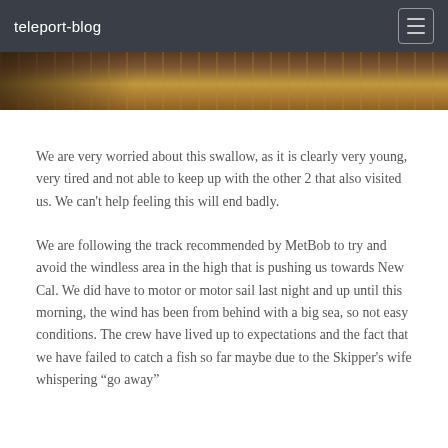teleport-blog
[Figure (photo): Partial view of a boat deck with wooden planking, cropped at the top of the page]
We are very worried about this swallow, as it is clearly very young, very tired and not able to keep up with the other 2 that also visited us. We can't help feeling this will end badly.
We are following the track recommended by MetBob to try and avoid the windless area in the high that is pushing us towards New Cal. We did have to motor or motor sail last night and up until this morning, the wind has been from behind with a big sea, so not easy conditions. The crew have lived up to expectations and the fact that we have failed to catch a fish so far maybe due to the Skipper's wife whispering “go away”